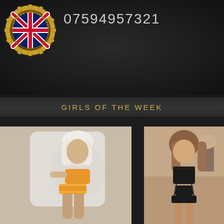[Figure (logo): Circular badge with British Union Jack flag, gold gear border, text 'LISTED ON LONDON UK ESCORTS']
07594957321
GIRLS OF THE WEEK
[Figure (photo): Woman with platinum blonde hair wearing orange/gold lingerie set seated in white chair]
[Figure (photo): Woman with brown wavy hair wearing black lace lingerie standing in room with lamp]